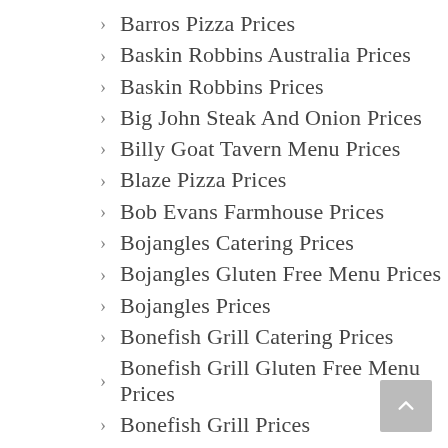Barros Pizza Prices
Baskin Robbins Australia Prices
Baskin Robbins Prices
Big John Steak And Onion Prices
Billy Goat Tavern Menu Prices
Blaze Pizza Prices
Bob Evans Farmhouse Prices
Bojangles Catering Prices
Bojangles Gluten Free Menu Prices
Bojangles Prices
Bonefish Grill Catering Prices
Bonefish Grill Gluten Free Menu Prices
Bonefish Grill Prices